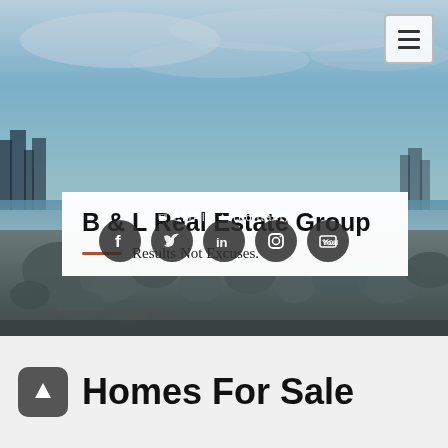[Figure (photo): Coastal cityscape photo with rocky shoreline, calm water, and blue cloudy sky. City buildings visible on left.]
B & L Real Estate Group
Results Not Excuses.
EMAIL • (contact info partially visible)
[Figure (infographic): Social media icon row: Facebook, Twitter, LinkedIn, Instagram, YouTube — white icons on dark circular buttons]
Homes For Sale